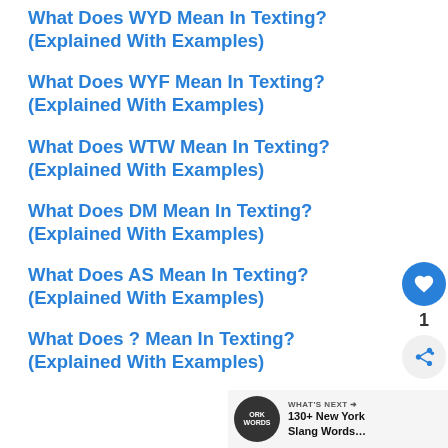What Does WYD Mean In Texting? (Explained With Examples)
What Does WYF Mean In Texting? (Explained With Examples)
What Does WTW Mean In Texting? (Explained With Examples)
What Does DM Mean In Texting? (Explained With Examples)
What Does AS Mean In Texting? (Explained With Examples)
What Does ? Mean In Texting? (Explained With Examples)
[Figure (other): What's Next promotional widget showing 130+ New York Slang Words article thumbnail with heart/share buttons and count of 1]